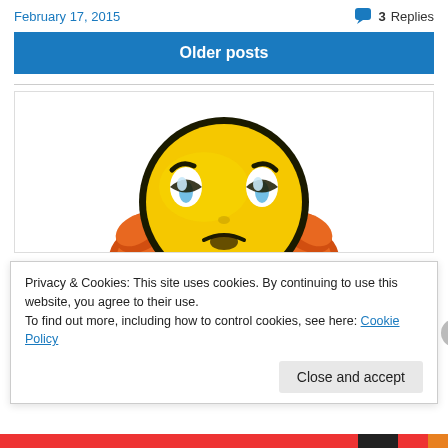February 17, 2015   💬 3 Replies
Older posts
[Figure (illustration): A sad/frustrated yellow emoji face with furrowed brows, tearing up, with hands on the sides of its head, showing a frowning expression]
Privacy & Cookies: This site uses cookies. By continuing to use this website, you agree to their use.
To find out more, including how to control cookies, see here: Cookie Policy
Close and accept